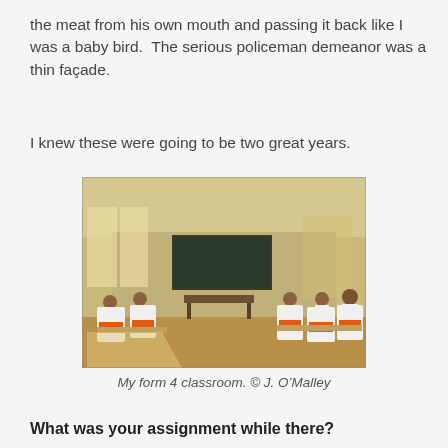the meat from his own mouth and passing it back like I was a baby bird.  The serious policeman demeanor was a thin façade.
I knew these were going to be two great years.
[Figure (photo): A classroom interior with students seated at white plastic chairs around tables. A blackboard is visible at the front. Students wear orange and white clothing. Natural light comes through windows on the left side.]
My form 4 classroom. © J. O'Malley
What was your assignment while there?